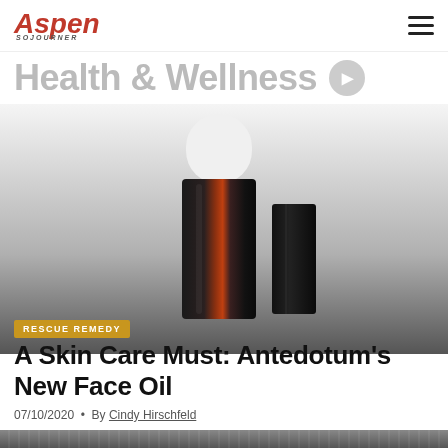Aspen Sojourner
Health & Wellness
[Figure (photo): Product photo of Antedotum Vital Face Oil bottles on a gradient grey background, showing two cylindrical dark metallic containers with white caps]
RESCUE REMEDY
A Skin Care Must: Antedotum's New Face Oil
07/10/2020 • By Cindy Hirschfeld